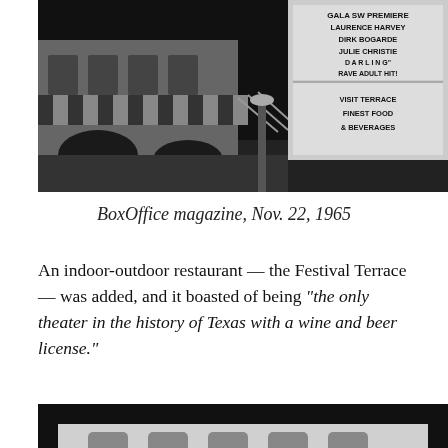[Figure (photo): Black and white photograph of a theater exterior at night showing striped awnings and a marquee sign reading: GALA SW PREMIERE LAURENCE HARVEY DIRK BOGARDE JULIE CHRISTIE DARLING RAVE ADULT HIT! VISIT TERRACE FINEST FOOD & BEVERAGES]
BoxOffice magazine, Nov. 22, 1965
An indoor-outdoor restaurant — the Festival Terrace — was added, and it boasted of being "the only theater in the history of Texas with a wine and beer license."
[Figure (photo): Black and white photograph of a white building exterior at night with striped awnings, arched windows, and trees in the foreground — appears to be the Festival Terrace restaurant.]